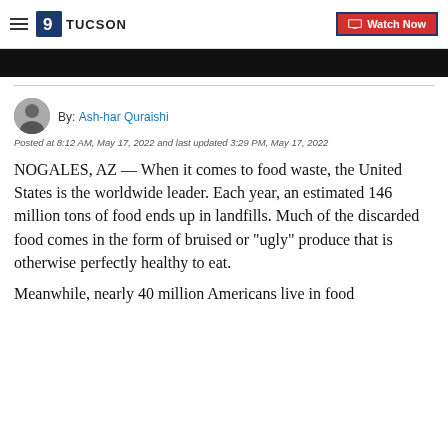9 TUCSON | Watch Now
[Figure (screenshot): Black video player bar]
By: Ash-har Quraishi
Posted at 8:12 AM, May 17, 2022 and last updated 3:29 PM, May 17, 2022
NOGALES, AZ — When it comes to food waste, the United States is the worldwide leader. Each year, an estimated 146 million tons of food ends up in landfills. Much of the discarded food comes in the form of bruised or "ugly" produce that is otherwise perfectly healthy to eat.
Meanwhile, nearly 40 million Americans live in food